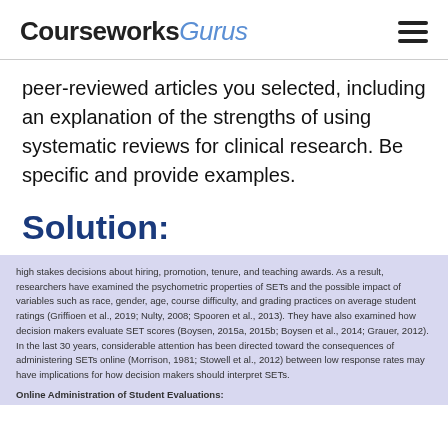Courseworks Gurus
peer-reviewed articles you selected, including an explanation of the strengths of using systematic reviews for clinical research. Be specific and provide examples.
Solution:
high stakes decisions about hiring, promotion, tenure, and teaching awards. As a result, researchers have examined the psychometric properties of SETs and the possible impact of variables such as race, gender, age, course difficulty, and grading practices on average student ratings (Griffioen et al., 2019; Nulty, 2008; Spooren et al., 2013). They have also examined how decision makers evaluate SET scores (Boysen, 2015a, 2015b; Boysen et al., 2014; Grauer, 2012). In the last 30 years, considerable attention has been directed toward the consequences of administering SETs online (Morrison, 1981; Stowell et al., 2012) because low response rates may have implications for how decision makers should interpret SETs.
Online Administration of Student Evaluations:
Administering SETs online provides multiple benefits. Online administration enables instructors to